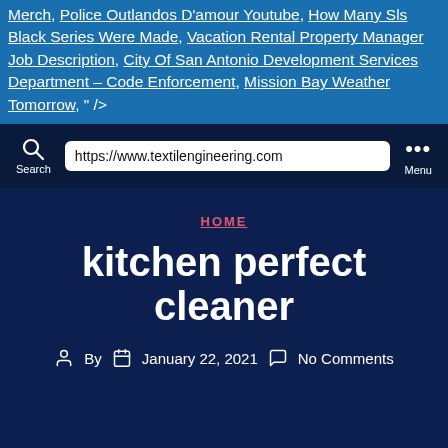Merch, Police Outlandos D'amour Youtube, How Many Sls Black Series Were Made, Vacation Rental Property Manager Job Description, City Of San Antonio Development Services Department – Code Enforcement, Mission Bay Weather Tomorrow, " />
https://www.textilengineering.com
HOME
kitchen perfect cleaner
By  January 22, 2021  No Comments